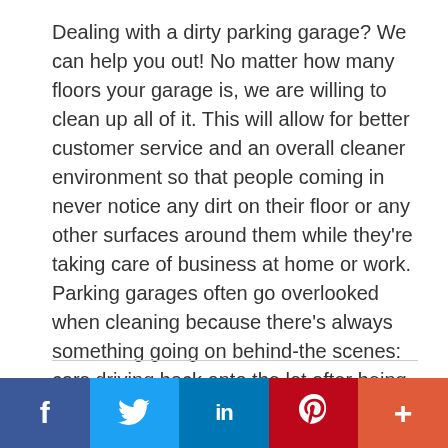Dealing with a dirty parking garage? We can help you out! No matter how many floors your garage is, we are willing to clean up all of it. This will allow for better customer service and an overall cleaner environment so that people coming in never notice any dirt on their floor or any other surfaces around them while they're taking care of business at home or work. Parking garages often go overlooked when cleaning because there's always something going on behind-the scenes: cars driving back onto the lot after being unloaded from trucks outside; maintenance workers fixing leaks beneath concrete slabs where pavement meets earth below surface level...anything else might catch someone's eye if left unchecked.
[Figure (infographic): Social media sharing bar with Facebook, Twitter, LinkedIn, Pinterest, and More (+) buttons]